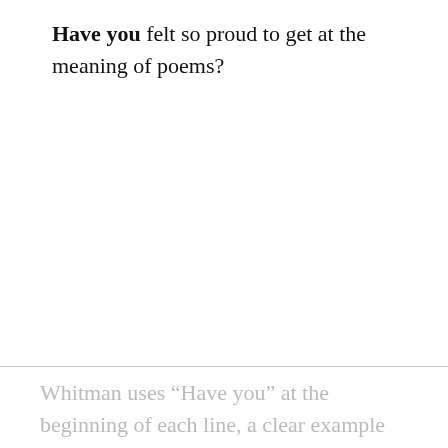Have you felt so proud to get at the meaning of poems?
Whitman uses “Have you” at the beginning of each line, a clear example of anaphora. It